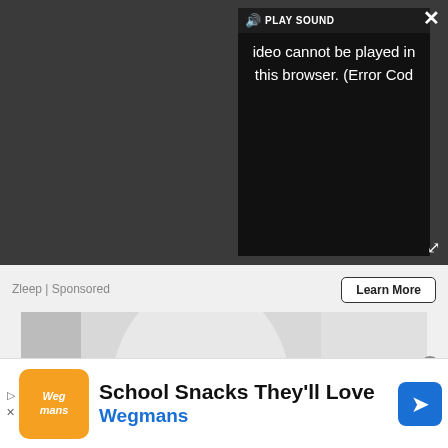[Figure (screenshot): Video player showing error: 'Video cannot be played in this browser. (Error Cod' with PLAY SOUND button and speaker icon, on dark background]
Zleep | Sponsored
Learn More
[Figure (photo): Close-up photo of a white and blue product (appears to be a robot or device)]
[Figure (screenshot): Advertisement banner: School Snacks They'll Love - Wegmans, with Wegmans logo and Google ad arrow icon]